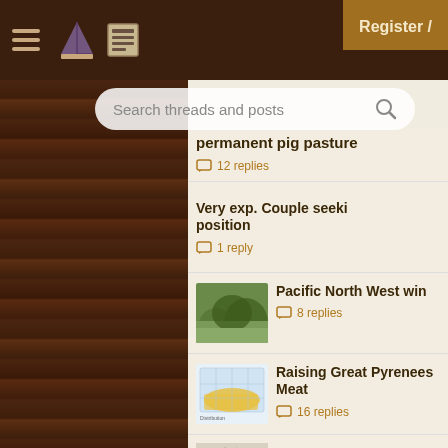Register /
Search threads and posts
permanent pig pasture — 12 replies
Very exp. Couple seeking position — 1 reply
Pacific North West win — 8 replies
Raising Great Pyrenees Meat — 16 replies